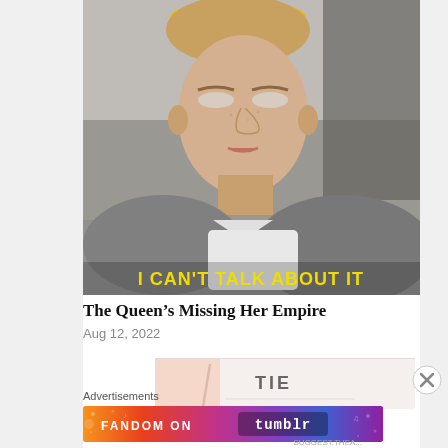[Figure (photo): A woman sitting in a car, wearing a yellow headband and gray clothing, looking at the camera with a calm expression. Text overlay at the bottom reads 'I CAN'T TALK ABOUT IT' in yellow capital letters.]
The Queen's Missing Her Empire
Aug 12, 2022
[Figure (photo): Partial second image visible below, showing partial text 'TIE' and a vertical line element against a light background.]
Advertisements
[Figure (other): FANDOM ON tumblr advertisement banner with colorful gradient background from orange to purple.]